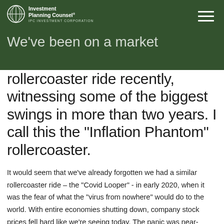Investment Planning Counsel® IPC INVESTMENT CORPORATION
We've been on a market rollercoaster ride recently, witnessing some of the biggest swings in more than two years. I call this the “Inflation Phantom” rollercoaster.
It would seem that we’ve already forgotten we had a similar rollercoaster ride – the “Covid Looper” - in early 2020, when it was the fear of what the “virus from nowhere” would do to the world. With entire economies shutting down, company stock prices fell hard like we’re seeing today. The panic was near-universal as we couldn’t